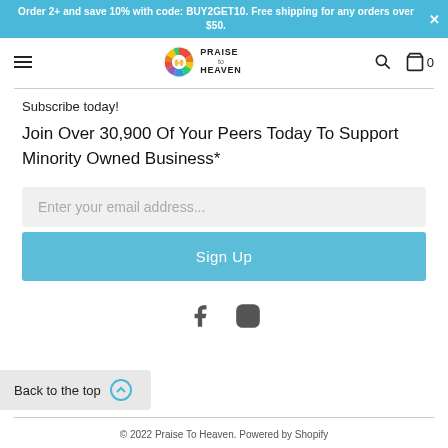Order 2+ and save 10% with code: BUY2GET10. Free shipping for any orders over $50.
[Figure (logo): Praise To Heaven rainbow logo with hamburger menu, search icon and cart icon (0 items) navigation bar]
Subscribe today!
Join Over 30,900 Of Your Peers Today To Support Minority Owned Business*
Enter your email address... [input field]
Sign Up [button]
[Figure (illustration): Facebook and Instagram social media icons]
Back to the top
© 2022 Praise To Heaven. Powered by Shopify